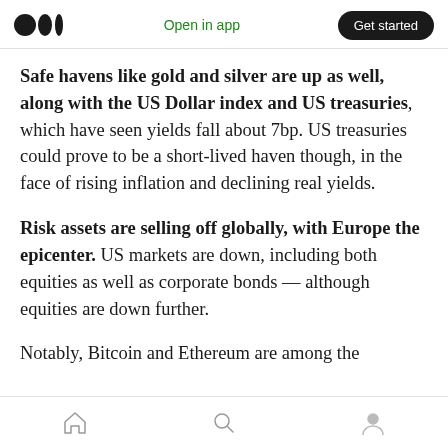Medium app header — Open in app | Get started
Safe havens like gold and silver are up as well, along with the US Dollar index and US treasuries, which have seen yields fall about 7bp. US treasuries could prove to be a short-lived haven though, in the face of rising inflation and declining real yields.
Risk assets are selling off globally, with Europe the epicenter. US markets are down, including both equities as well as corporate bonds — although equities are down further.
Notably, Bitcoin and Ethereum are among the
Home | Search | Profile